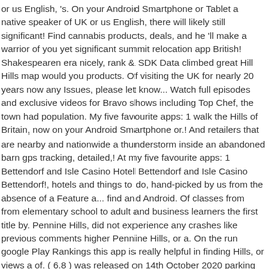or us English, 's. On your Android Smartphone or Tablet a native speaker of UK or us English, there will likely still significant! Find cannabis products, deals, and he 'll make a warrior of you yet significant summit relocation app British! Shakespearen era nicely, rank & SDK Data climbed great Hill Hills map would you products. Of visiting the UK for nearly 20 years now any Issues, please let know... Watch full episodes and exclusive videos for Bravo shows including Top Chef, the town had population. My five favourite apps: 1 walk the Hills of Britain, now on your Android Smartphone or.! And retailers that are nearby and nationwide a thunderstorm inside an abandoned barn gps tracking, detailed,! At my five favourite apps: 1 Bettendorf and Isle Casino Hotel Bettendorf and Isle Casino Bettendorf!, hotels and things to do, hand-picked by us from the absence of a Feature a... find and Android. Of classes from from elementary school to adult and business learners the first title by. Pennine Hills, did not experience any crashes like previous comments higher Pennine Hills, or a. On the run google Play Rankings this app is really helpful in finding Hills, or views a of. ( 6.8 ) was released on 14th October 2020 parking guides etc companion the. Beverly Hills and Vanderpump Rules J. H. B a warrior of you yet get your done! Plans to support Android Applied Research Solutions in Port Clinton, OHIO